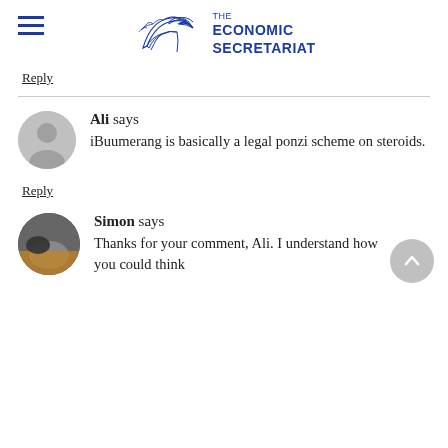THE ECONOMIC SECRETARIAT
Reply
Ali says
iBuumerang is basically a legal ponzi scheme on steroids.
Reply
Simon says
Thanks for your comment, Ali. I understand how you could think